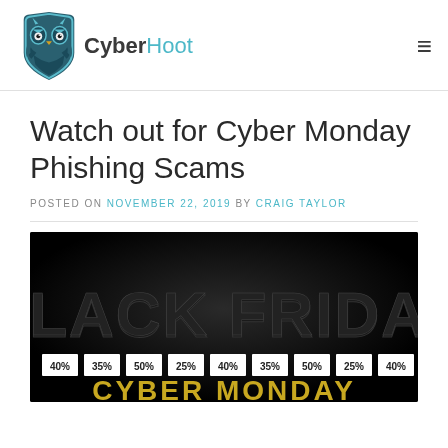CyberHoot
Watch out for Cyber Monday Phishing Scams
POSTED ON NOVEMBER 22, 2019 BY CRAIG TAYLOR
[Figure (photo): Black Friday / Cyber Monday promotional image with large bold text 'BLACK FRIDAY' and discount percentages 40%, 35%, 50%, 25%, 40%, 35%, 50%, 25%, 40% shown in white boxes at the bottom, with 'CYBER MONDAY' text partially visible below.]